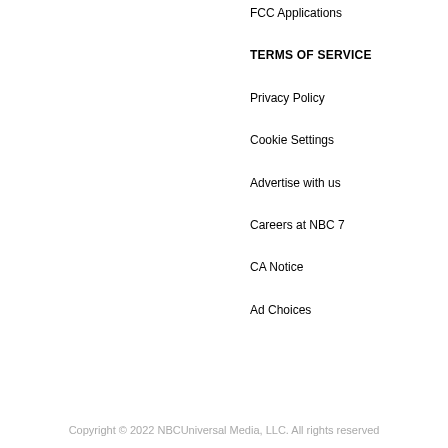FCC Applications
TERMS OF SERVICE
Privacy Policy
Cookie Settings
Advertise with us
Careers at NBC 7
CA Notice
Ad Choices
Copyright © 2022 NBCUniversal Media, LLC. All rights reserved